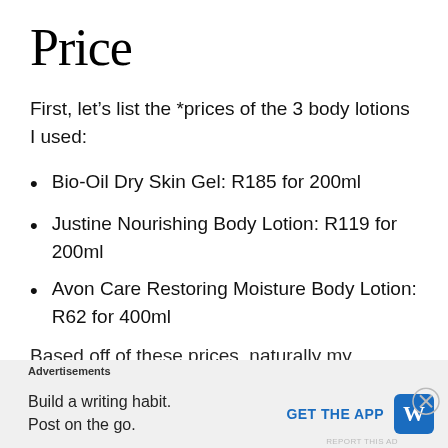Price
First, let’s list the *prices of the 3 body lotions I used:
Bio-Oil Dry Skin Gel: R185 for 200ml
Justine Nourishing Body Lotion: R119 for 200ml
Avon Care Restoring Moisture Body Lotion: R62 for 400ml
Based off of these prices, naturally my
Advertisements
Build a writing habit. Post on the go.
GET THE APP